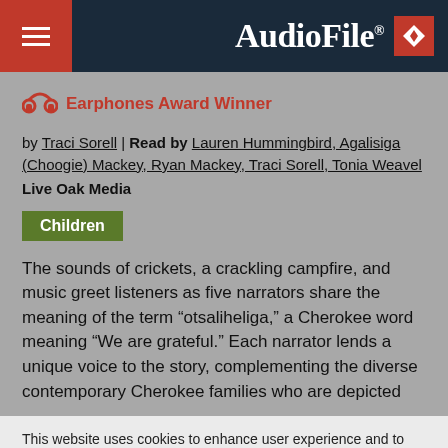AudioFile
Earphones Award Winner
by Traci Sorell | Read by Lauren Hummingbird, Agalisiga (Choogie) Mackey, Ryan Mackey, Traci Sorell, Tonia Weavel
Live Oak Media
Children
The sounds of crickets, a crackling campfire, and music greet listeners as five narrators share the meaning of the term “otsaliheliga,” a Cherokee word meaning “We are grateful.” Each narrator lends a unique voice to the story, complementing the diverse contemporary Cherokee families who are depicted
This website uses cookies to enhance user experience and to analyze performance and traffic on our website. Learn More.
I Consent